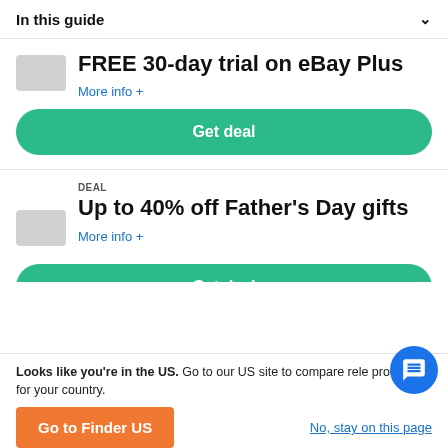In this guide
FREE 30-day trial on eBay Plus
More info +
Get deal
DEAL
Up to 40% off Father's Day gifts
More info +
Get deal
Looks like you're in the US. Go to our US site to compare rele products for your country.
Go to Finder US
No, stay on this page